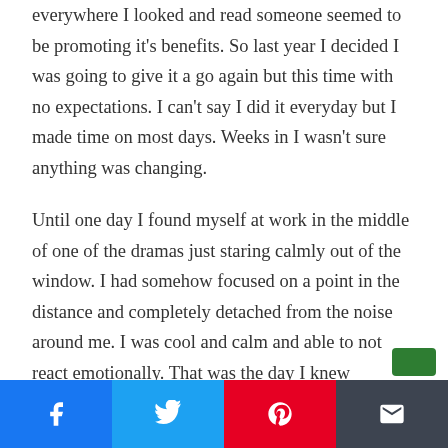everywhere I looked and read someone seemed to be promoting it's benefits. So last year I decided I was going to give it a go again but this time with no expectations. I can't say I did it everyday but I made time on most days. Weeks in I wasn't sure anything was changing.
Until one day I found myself at work in the middle of one of the dramas just staring calmly out of the window. I had somehow focused on a point in the distance and completely detached from the noise around me. I was cool and calm and able to not react emotionally. That was the day I knew something had changed.
[Figure (other): Social sharing bar with Facebook, Twitter, Pinterest, and Email buttons]